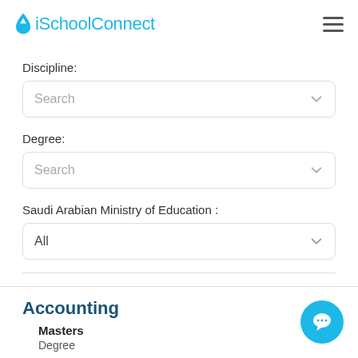iSchoolConnect
Discipline:
Search
Degree:
Search
Saudi Arabian Ministry of Education :
All
Accounting
Masters
Degree